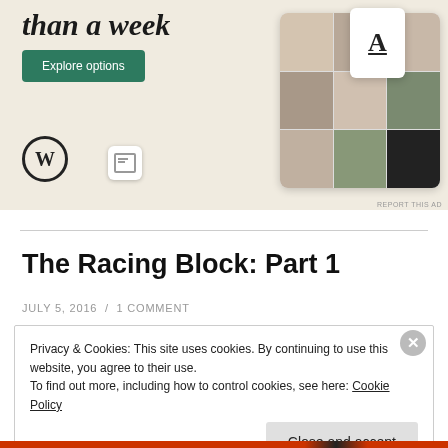[Figure (screenshot): WordPress.com advertisement banner with 'than a week' heading, 'Explore options' green button, WordPress logo, and food app phone mockup screenshots]
The Racing Block: Part 1
JULY 5, 2016 / 1 COMMENT
Privacy & Cookies: This site uses cookies. By continuing to use this website, you agree to their use.
To find out more, including how to control cookies, see here: Cookie Policy
Close and accept